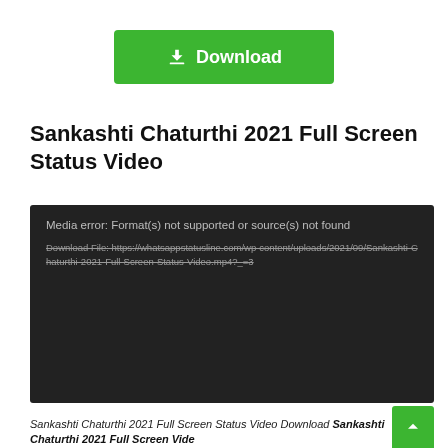[Figure (screenshot): Green Download button with download icon]
Sankashti Chaturthi 2021 Full Screen Status Video
[Figure (screenshot): Dark video player area showing media error: Format(s) not supported or source(s) not found, with download file URL: https://whatsappstatusline.com/wp-content/uploads/2021/09/Sankashti-Chaturthi-2021-Full-Screen-Status-Video.mp4?_=3]
Sankashti Chaturthi 2021 Full Screen Status Video Download Sankashti Chaturthi 2021 Full Screen Vide